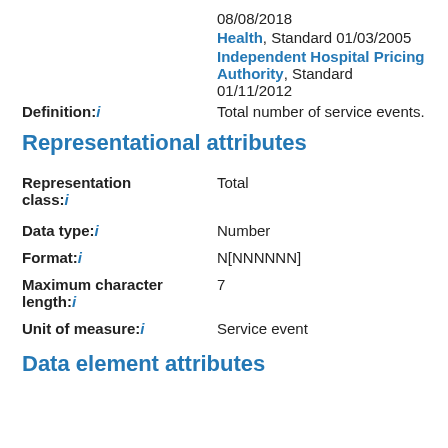08/08/2018
Health, Standard 01/03/2005
Independent Hospital Pricing Authority, Standard 01/11/2012
Definition: i   Total number of service events.
Representational attributes
Representation class: i   Total
Data type: i   Number
Format: i   N[NNNNNN]
Maximum character length: i   7
Unit of measure: i   Service event
Data element attributes